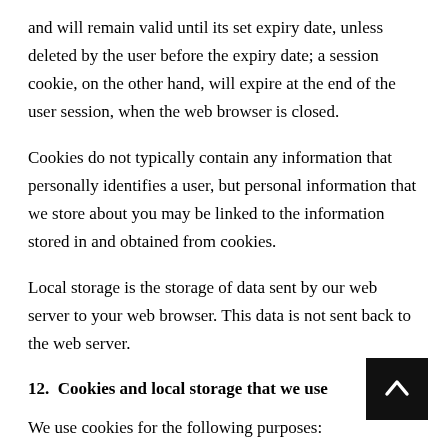and will remain valid until its set expiry date, unless deleted by the user before the expiry date; a session cookie, on the other hand, will expire at the end of the user session, when the web browser is closed.
Cookies do not typically contain any information that personally identifies a user, but personal information that we store about you may be linked to the information stored in and obtained from cookies.
Local storage is the storage of data sent by our web server to your web browser. This data is not sent back to the web server.
12.  Cookies and local storage that we use
We use cookies for the following purposes:
a) authentication – we use cookies to identify you and...